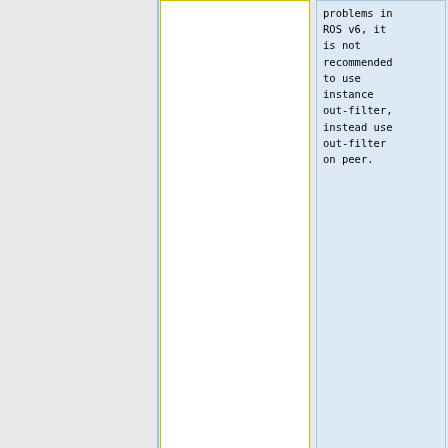| Left | Right |
| --- | --- |
| (empty - yellow border cell) | problems in
ROS v6, it
is not
recommended
to use
instance
out-filter,
instead use
out-filter
on peer. |
| }} | }} |
| (empty) | (empty) |
| Line 430: | Line 430: |
| |desc=If
set, then
BGP AS-PATH
attribute
is removed
before | |desc=If
set, then
BGP AS-PATH
attribute
is removed
before |